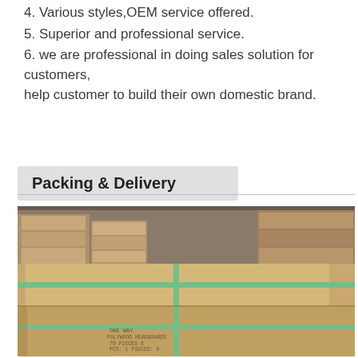4. Various styles,OEM service offered.
5. Superior and professional service.
6. we are professional in doing sales solution for customers, help customer to build their own domestic brand.
Packing & Delivery
[Figure (photo): A large cardboard shipping box strapped with green bands, stored in a warehouse with stacked cardboard boxes in the background.]